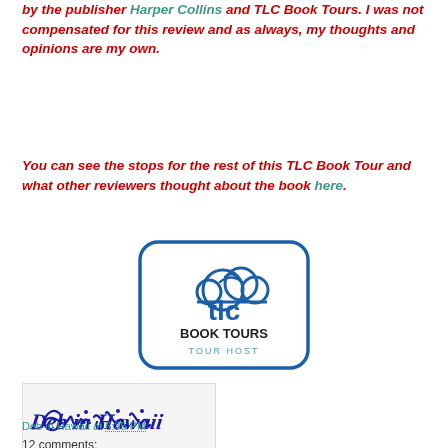by the publisher Harper Collins and TLC Book Tours. I was not compensated for this review and as always, my thoughts and opinions are my own.
You can see the stops for the rest of this TLC Book Tour and what other reviewers thought about the book here.
[Figure (logo): TLC Book Tours Tour Host logo - blue rounded square with cloud and 'tlc BOOK TOURS TOUR HOST' text]
[Figure (photo): Handwritten cursive signature reading 'Deb in Hawaii' in blue ink on light background]
Deb in Hawaii at 6:35 PM
12 comments: